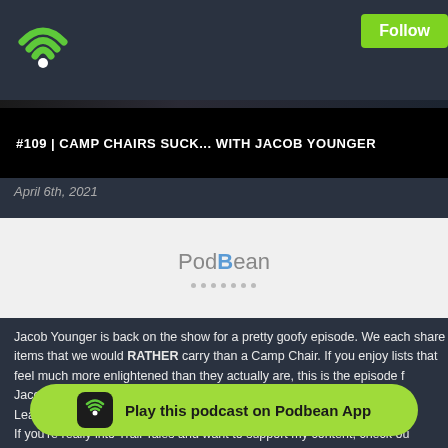[Figure (logo): Podbean/WiFi green icon top-left]
Follow
#109 | CAMP CHAIRS SUCK... WITH JACOB YOUNGER
April 6th, 2021
[Figure (screenshot): Podbean audio player embed with PodBean logo and dot controls]
Jacob Younger is back on the show for a pretty goofy episode. We each share items that we would RATHER carry than a Camp Chair. If you enjoy lists that feel much more enlightened than they actually are, this is the episode for you.
Jacob's Instagram: https://www.instagram.com/therealjoungs/
Learn more about Riggin' It Gear: https://www.r-i-g.co/
If you're really into Trail Tales and want to support my content, check ou
https://www.
Feel free to subscribe if you
Instagram is so feel free to follow me on there a
[Figure (infographic): Play this podcast on Podbean App banner button at bottom]